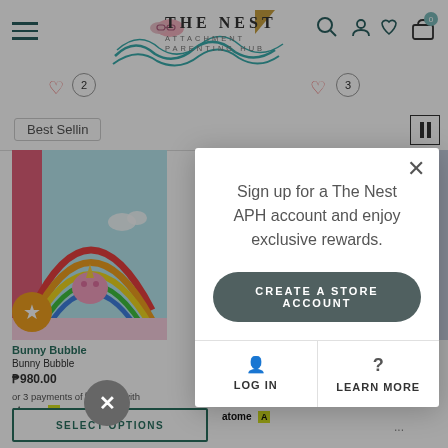[Figure (screenshot): The Nest Attachment Parenting Hub website header with logo, navigation icons, hamburger menu, search, user account, wishlist, and cart with badge showing 0]
Best Sellin
[Figure (photo): Product image of Bunny Bubble item showing rainbow and unicorn illustration on pink/teal background]
Bunny Bubble
Bunny Bubble
₱980.00
or 3 payments of ₱326.67 with
atome A
₱1,495.00
or 3 payments of ₱498.33 with
atome A
SELECT OPTIONS
Sign up for a The Nest APH account and enjoy exclusive rewards.
CREATE A STORE ACCOUNT
LOG IN
LEARN MORE